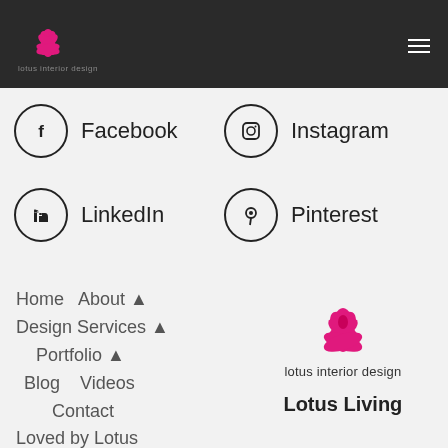lotus interior design
Facebook
Instagram
LinkedIn
Pinterest
Home   About ▲   Design Services ▲   Portfolio ▲   Blog   Videos   Contact   Loved by Lotus
[Figure (logo): Lotus interior design pink lotus flower logo with text 'lotus interior design' and 'Lotus Living']